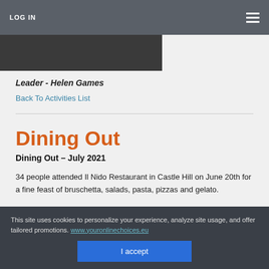LOG IN
[Figure (screenshot): Dark header image with watermark text and LARRY WRITER text visible]
Leader - Helen Games
Back To Activities List
Dining Out
Dining Out – July 2021
34 people attended Il Nido Restaurant in Castle Hill on June 20th for a fine feast of bruschetta, salads, pasta, pizzas and gelato.
There will be no Dining Out next month due to the Sirculo Restaurant Booking on
This site uses cookies to personalize your experience, analyze site usage, and offer tailored promotions. www.youronlinechoices.eu